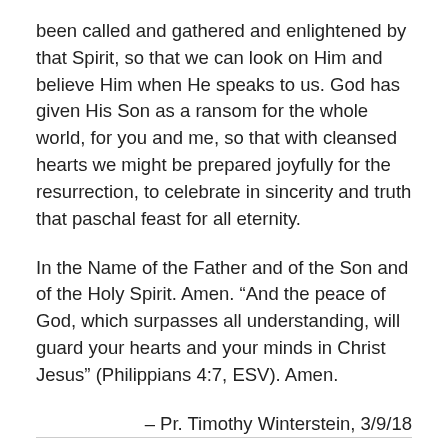been called and gathered and enlightened by that Spirit, so that we can look on Him and believe Him when He speaks to us. God has given His Son as a ransom for the whole world, for you and me, so that with cleansed hearts we might be prepared joyfully for the resurrection, to celebrate in sincerity and truth that paschal feast for all eternity.
In the Name of the Father and of the Son and of the Holy Spirit. Amen. “And the peace of God, which surpasses all understanding, will guard your hearts and your minds in Christ Jesus” (Philippians 4:7, ESV). Amen.
– Pr. Timothy Winterstein, 3/9/18